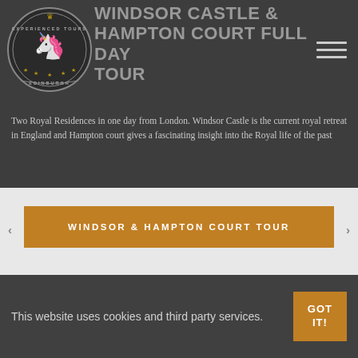[Figure (logo): Experienced Tours Edinburgh circular seal logo with unicorn and crown]
WINDSOR CASTLE & HAMPTON COURT FULL DAY TOUR
Two Royal Residences in one day from London. Windsor Castle is the current royal retreat in England and Hampton court gives a fascinating insight into the Royal life of the past
WINDSOR & HAMPTON COURT TOUR
This website uses cookies and third party services.
GOT IT!